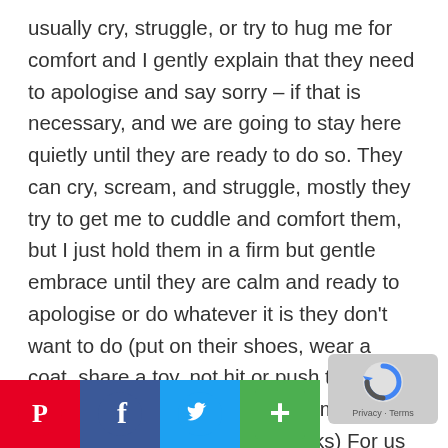usually cry, struggle, or try to hug me for comfort and I gently explain that they need to apologise and say sorry – if that is necessary, and we are going to stay here quietly until they are ready to do so. They can cry, scream, and struggle, mostly they try to get me to cuddle and comfort them, but I just hold them in a firm but gentle embrace until they are calm and ready to apologise or do whatever it is they don't want to do (put on their shoes, wear a coat, share a toy, not hit or push their sibling, sit in their highchairs for mealtime – these are typical stumbling blocks) For us this method works, as soon as they apologise me they are ready to put on their shoes/get int highchair/apologise for pushing – we hug each other
[Figure (other): Social sharing buttons: Pinterest, Facebook, Twitter, Add/Plus — displayed at the bottom left of the page]
[Figure (other): reCAPTCHA badge in the bottom right corner showing the Google reCAPTCHA logo with Privacy and Terms links]